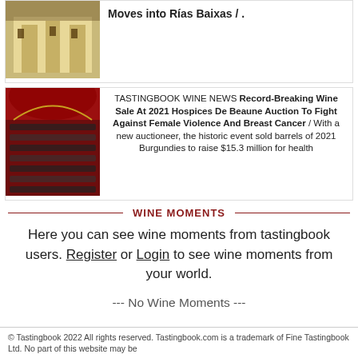[Figure (photo): Partial top article card with building/architectural image]
Moves into Rías Baixas / .
[Figure (photo): Article card with photo of large audience in a grand hall with red decor]
TASTINGBOOK WINE NEWS Record-Breaking Wine Sale At 2021 Hospices De Beaune Auction To Fight Against Female Violence And Breast Cancer / With a new auctioneer, the historic event sold barrels of 2021 Burgundies to raise $15.3 million for health
WINE MOMENTS
Here you can see wine moments from tastingbook users. Register or Login to see wine moments from your world.
--- No Wine Moments ---
© Tastingbook 2022 All rights reserved. Tastingbook.com is a trademark of Fine Tastingbook Ltd. No part of this website may be